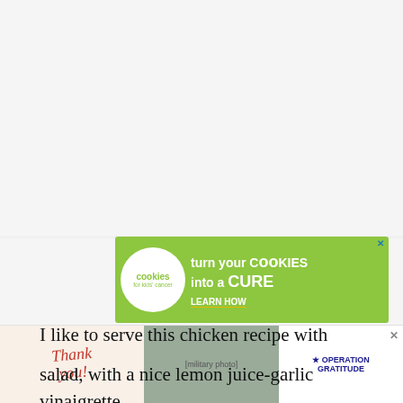[Figure (infographic): Cookies for Kids Cancer advertisement banner. Green background with white circle logo on left reading 'cookies for kids cancer'. Text reads 'turn your COOKIES into a CURE LEARN HOW' with an X close button.]
[Figure (infographic): Heart/like button (teal circle) with count 413 below it, and a share button below that.]
I like to serve this chicken recipe with salad, with a nice lemon juice-garlic vinaigrette,
[Figure (infographic): WHAT'S NEXT -> Leftover Steak Hash with a food photo thumbnail.]
[Figure (infographic): Bottom advertisement: 'Thank you!' with American flag imagery and Operation Gratitude logo.]